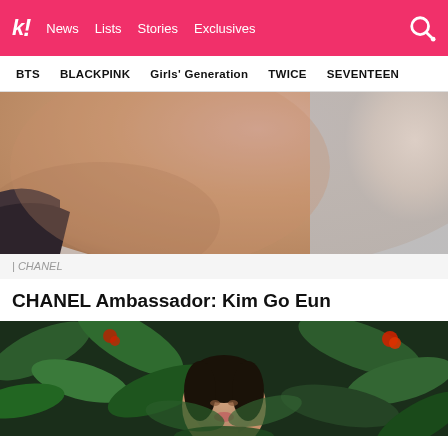k! News Lists Stories Exclusives
BTS BLACKPINK Girls' Generation TWICE SEVENTEEN
[Figure (photo): Close-up abstract photo of skin and dark fabric, likely a Chanel fashion editorial]
| CHANEL
CHANEL Ambassador: Kim Go Eun
[Figure (photo): Woman (Kim Go Eun) photographed among lush green tropical leaves and red flowers]